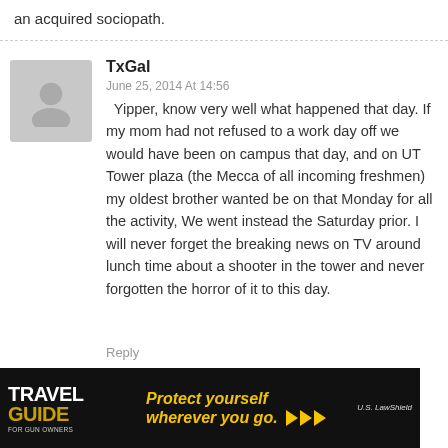an acquired sociopath.
TxGal
June 25, 2014 At 14:56
Yipper, know very well what happened that day. If my mom had not refused to a work day off we would have been on campus that day, and on UT Tower plaza (the Mecca of all incoming freshmen) my oldest brother wanted be on that Monday for all the activity, We went instead the Saturday prior. I will never forget the breaking news on TV around lunch time about a shooter in the tower and never forgotten the horror of it to this day.
Reply
[Figure (photo): Travel Guide for Gun Owners advertisement banner with text 'Protect yourself wherever you go.' and U.S. LawShield logo]